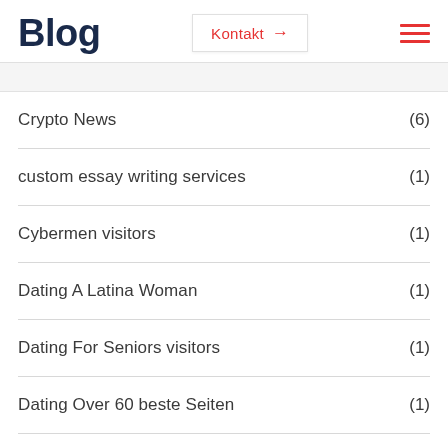Blog
Crypto News (6)
custom essay writing services (1)
Cybermen visitors (1)
Dating A Latina Woman (1)
Dating For Seniors visitors (1)
Dating Over 60 beste Seiten (1)